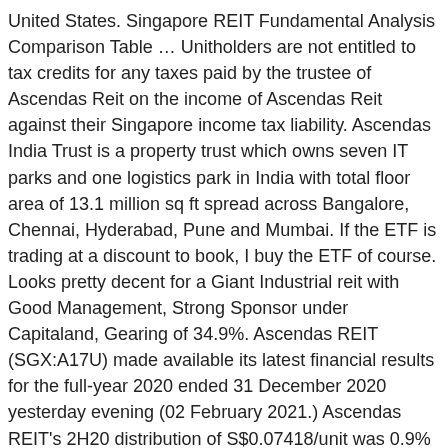United States. Singapore REIT Fundamental Analysis Comparison Table … Unitholders are not entitled to tax credits for any taxes paid by the trustee of Ascendas Reit on the income of Ascendas Reit against their Singapore income tax liability. Ascendas India Trust is a property trust which owns seven IT parks and one logistics park in India with total floor area of 13.1 million sq ft spread across Bangalore, Chennai, Hyderabad, Pune and Mumbai. If the ETF is trading at a discount to book, I buy the ETF of course. Looks pretty decent for a Giant Industrial reit with Good Management, Strong Sponsor under Capitaland, Gearing of 34.9%. Ascendas REIT (SGX:A17U) made available its latest financial results for the full-year 2020 ended 31 December 2020 yesterday evening (02 February 2021.) Ascendas REIT's 2H20 distribution of S$0.07418/unit was 0.9% lower y-o-y due to an expansion in units base following an equity fund raising exercise in 4Q20. Ascendas REIT: ↓27.24%. Ascendas India Trust engages in the ownership of real estate properties primarily used as business space and real estate related